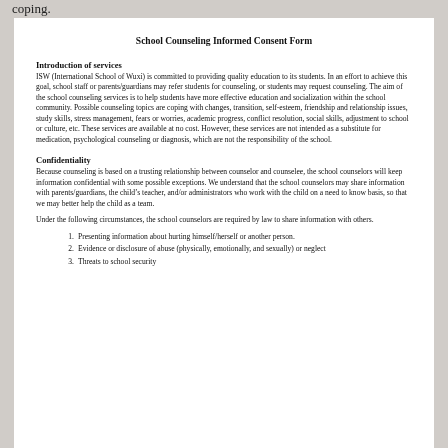coping.
School Counseling Informed Consent Form
Introduction of services
ISW (International School of Wuxi) is committed to providing quality education to its students. In an effort to achieve this goal, school staff or parents/guardians may refer students for counseling, or students may request counseling. The aim of the school counseling services is to help students have more effective education and socialization within the school community. Possible counseling topics are coping with changes, transition, self-esteem, friendship and relationship issues, study skills, stress management, fears or worries, academic progress, conflict resolution, social skills, adjustment to school or culture, etc. These services are available at no cost. However, these services are not intended as a substitute for medication, psychological counseling or diagnosis, which are not the responsibility of the school.
Confidentiality
Because counseling is based on a trusting relationship between counselor and counselee, the school counselors will keep information confidential with some possible exceptions. We understand that the school counselors may share information with parents/guardians, the child’s teacher, and/or administrators who work with the child on a need to know basis, so that we may better help the child as a team.
Under the following circumstances, the school counselors are required by law to share information with others.
Presenting information about hurting himself/herself or another person.
Evidence or disclosure of abuse (physically, emotionally, and sexually) or neglect
Threats to school security